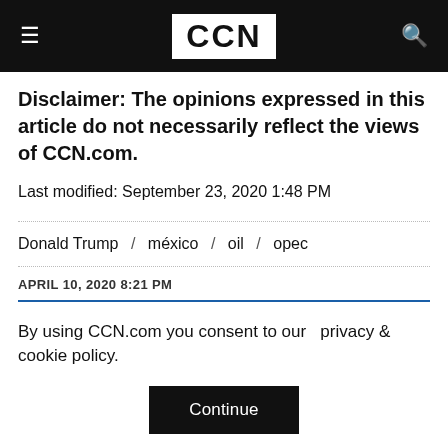CCN
Disclaimer: The opinions expressed in this article do not necessarily reflect the views of CCN.com.
Last modified: September 23, 2020 1:48 PM
Donald Trump / méxico / oil / opec
APRIL 10, 2020 8:21 PM
By using CCN.com you consent to our privacy & cookie policy.
Continue